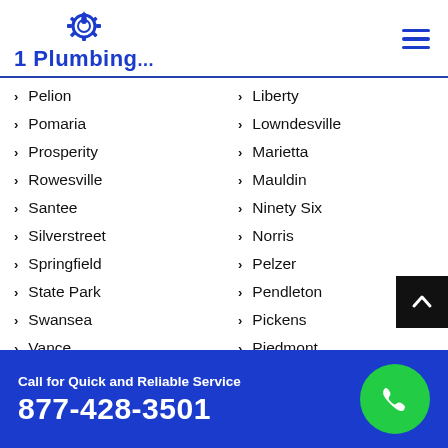1 Plumbing logo and navigation
Pelion
Pomaria
Prosperity
Rowesville
Santee
Silverstreet
Springfield
State Park
Swansea
Vance
Liberty
Lowndesville
Marietta
Mauldin
Ninety Six
Norris
Pelzer
Pendleton
Pickens
Piedmont
Call for Quick and Reliable Service 877-428-3501